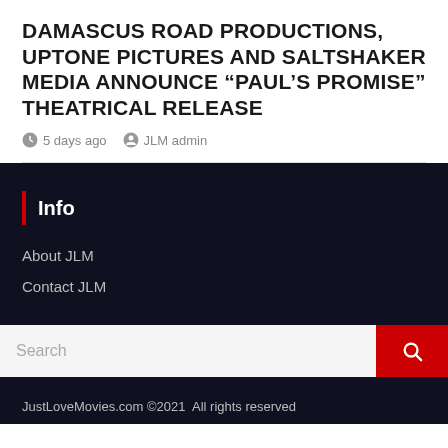DAMASCUS ROAD PRODUCTIONS, UPTONE PICTURES AND SALTSHAKER MEDIA ANNOUNCE “PAUL’S PROMISE” THEATRICAL RELEASE
5 days ago   JLM admin
Info
About JLM
Contact JLM
JustLoveMovies.com ©2021  All rights reserved